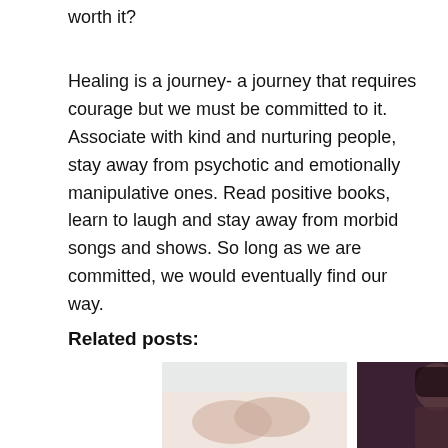worth it?
Healing is a journey- a journey that requires courage but we must be committed to it. Associate with kind and nurturing people, stay away from psychotic and emotionally manipulative ones. Read positive books, learn to laugh and stay away from morbid songs and shows. So long as we are committed, we would eventually find our way.
Related posts:
[Figure (photo): Close-up of hands touching, light background — related post thumbnail]
[Figure (photo): Woman with dark hair and gothic makeup holding a candle in a dimly lit room — related post thumbnail]